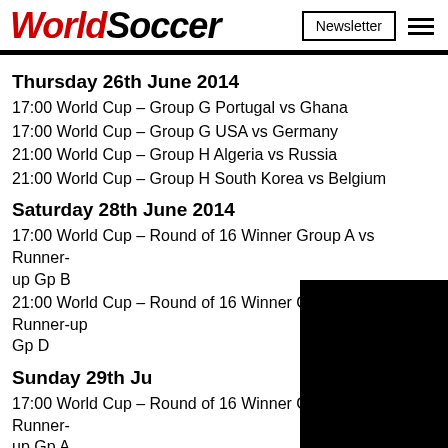WorldSoccer | Newsletter | menu
Thursday 26th June 2014
17:00 World Cup – Group G Portugal vs Ghana
17:00 World Cup – Group G USA vs Germany
21:00 World Cup – Group H Algeria vs Russia
21:00 World Cup – Group H South Korea vs Belgium
Saturday 28th June 2014
17:00 World Cup – Round of 16 Winner Group A vs Runner-up Gp B
21:00 World Cup – Round of 16 Winner Group C vs Runner-up Gp D
Sunday 29th June 2014
17:00 World Cup – Round of 16 Winner Group B vs Runner-up Gp A
21:00 World Cup – Round of 16 Winner Group D vs Runner-up Gp C